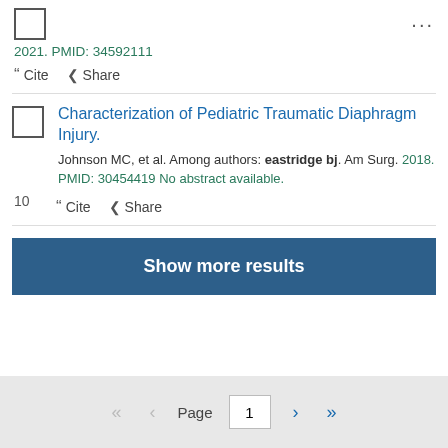...
2021. PMID: 34592111
" Cite  < Share
Characterization of Pediatric Traumatic Diaphragm Injury.
Johnson MC, et al. Among authors: eastridge bj. Am Surg. 2018. PMID: 30454419 No abstract available.
" Cite  < Share
Show more results
Page 1